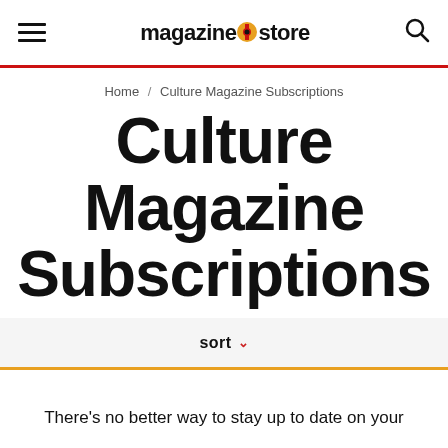magazine store
Home / Culture Magazine Subscriptions
Culture Magazine Subscriptions
sort ˅
There's no better way to stay up to date on your